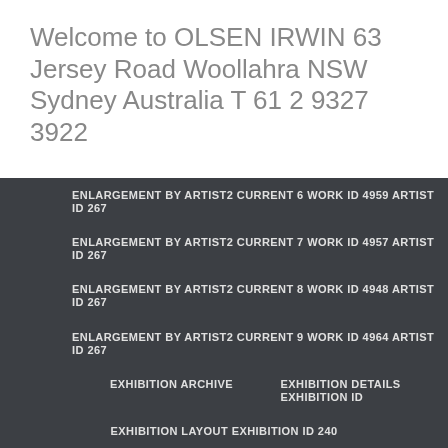Welcome to OLSEN IRWIN 63 Jersey Road Woollahra NSW Sydney Australia T 61 2 9327 3922
ENLARGEMENT BY ARTIST2 CURRENT 6 WORK ID 4959 ARTIST ID 267
ENLARGEMENT BY ARTIST2 CURRENT 7 WORK ID 4957 ARTIST ID 267
ENLARGEMENT BY ARTIST2 CURRENT 8 WORK ID 4948 ARTIST ID 267
ENLARGEMENT BY ARTIST2 CURRENT 9 WORK ID 4964 ARTIST ID 267
EXHIBITION ARCHIVE
EXHIBITION DETAILS EXHIBITION ID
EXHIBITION LAYOUT EXHIBITION ID 240